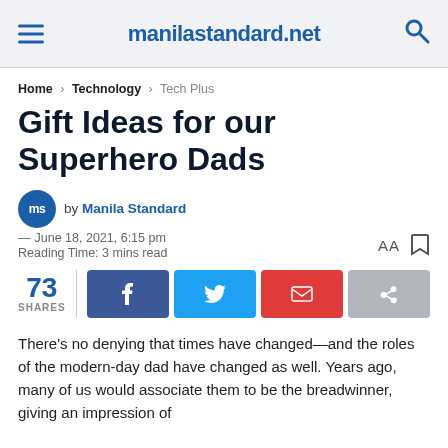manilastandard.net
Home › Technology › Tech Plus
Gift Ideas for our Superhero Dads
by Manila Standard
— June 18, 2021, 6:15 pm
Reading Time: 3 mins read
73 SHARES
There's no denying that times have changed—and the roles of the modern-day dad have changed as well. Years ago, many of us would associate them to be the breadwinner, giving an impression of...